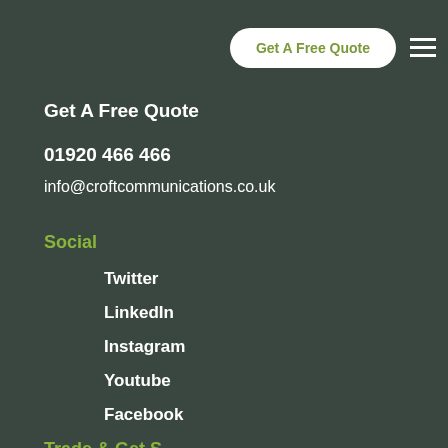Get A Free Quote
Get A Free Quote
01920 466 466
info@croftcommunications.co.uk
Social
Twitter
LinkedIn
Instagram
Youtube
Facebook
Trade & Get S...